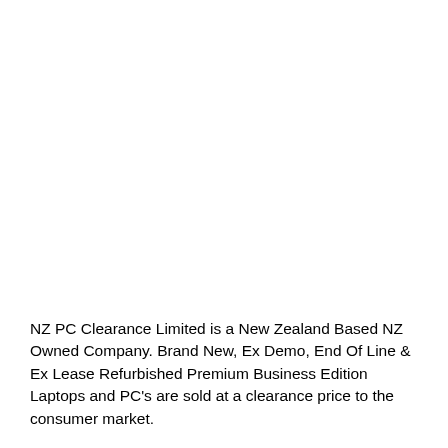NZ PC Clearance Limited is a New Zealand Based NZ Owned Company. Brand New, Ex Demo, End Of Line & Ex Lease Refurbished Premium Business Edition Laptops and PC's are sold at a clearance price to the consumer market.